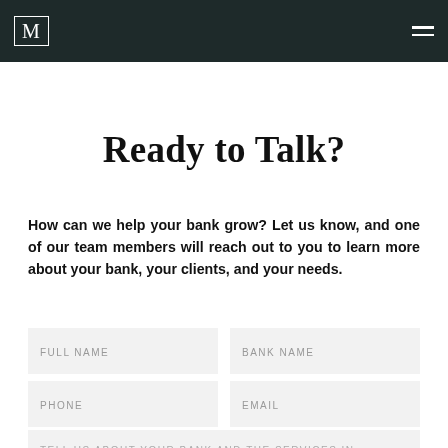M (logo)
Ready to Talk?
How can we help your bank grow? Let us know, and one of our team members will reach out to you to learn more about your bank, your clients, and your needs.
FULL NAME | BANK NAME | PHONE | EMAIL | TELL US ABOUT YOUR BANK AND THE SERVICES IN